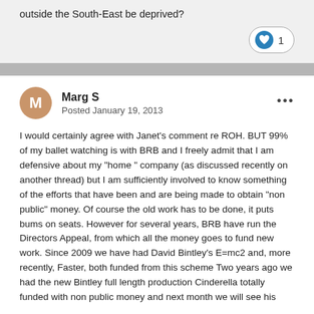outside the South-East be deprived?
[Figure (other): Like button with heart icon showing count of 1]
Marg S
Posted January 19, 2013
I would certainly agree with Janet's comment re ROH. BUT 99% of my ballet watching is with BRB and I freely admit that I am defensive about my "home " company (as discussed recently on another thread) but I am sufficiently involved to know something of the efforts that have been and are being made to obtain "non public" money. Of course the old work has to be done, it puts bums on seats. However for several years, BRB have run the Directors Appeal, from which all the money goes to fund new work. Since 2009 we have had David Bintley's E=mc2 and, more recently, Faster, both funded from this scheme Two years ago we had the new Bintley full length production Cinderella totally funded with non public money and next month we will see his